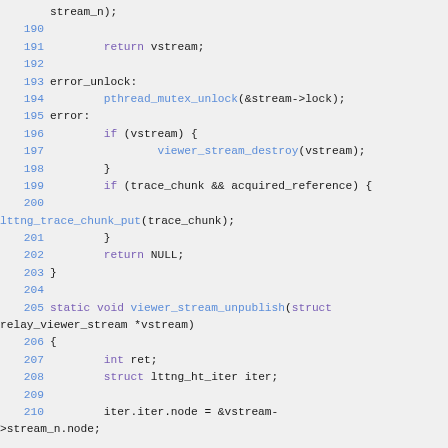Source code listing lines 190-210, C programming language
190
191		return vstream;
192
193 error_unlock:
194		pthread_mutex_unlock(&stream->lock);
195 error:
196		if (vstream) {
197			viewer_stream_destroy(vstream);
198		}
199		if (trace_chunk && acquired_reference) {
200
lttng_trace_chunk_put(trace_chunk);
201		}
202		return NULL;
203 }
204
205 static void viewer_stream_unpublish(struct
relay_viewer_stream *vstream)
206 {
207		int ret;
208		struct lttng_ht_iter iter;
209
210		iter.iter.node = &vstream->stream_n.node;